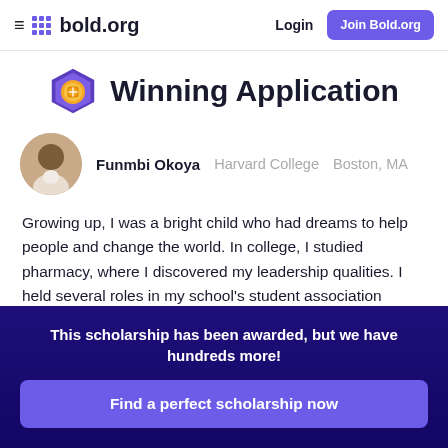bold.org | Login | Join Bold.org
Winning Application
Funmbi Okoya    Harvard College    Boston, MA
Growing up, I was a bright child who had dreams to help people and change the world. In college, I studied pharmacy, where I discovered my leadership qualities. I held several roles in my school's student association before serving as the President, where we were able to
This scholarship has been awarded, but we have hundreds more!
Find a perfect scholarship now